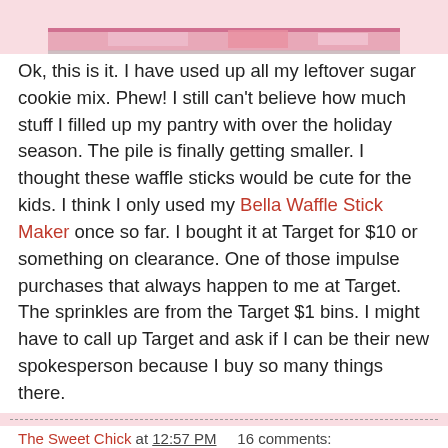[Figure (photo): Top portion of a food photo showing pink/red colored items (waffle sticks with sprinkles), partially cropped at the top of the page]
Ok, this is it.  I have used up all my leftover sugar cookie mix.  Phew!  I still can't believe how much stuff I filled up my pantry with over the holiday season.  The pile is finally getting smaller.  I thought these waffle sticks would be cute for the kids.  I think I only used my Bella Waffle Stick Maker once so far.  I bought it at Target for $10 or something on clearance.  One of those impulse purchases that  always happen to me at Target.  The sprinkles are from the Target $1 bins.  I might have to call up Target and ask if I can be their new spokesperson because I buy so many things there.
The Sweet Chick at 12:57 PM    16 comments:
Share
Tuesday, January 14, 2014
Cherry Cordial Brownie Cookies
[Figure (photo): Bottom portion of a food photo showing Cherry Cordial Brownie Cookies with red cherries and brown cookies, with cursive text overlay]